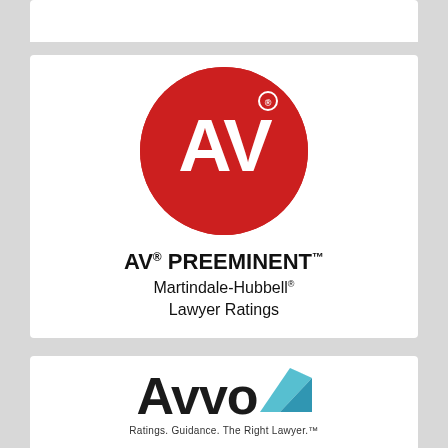[Figure (logo): AV Preeminent Martindale-Hubbell Lawyer Ratings logo: large red circle with white 'AV' text, beneath which reads 'AV® PREEMINENT™ Martindale-Hubbell® Lawyer Ratings']
[Figure (logo): Avvo logo: bold black 'Avvo' wordmark with a blue angular checkmark/arrow icon, tagline reads 'Ratings. Guidance. The Right Lawyer.']